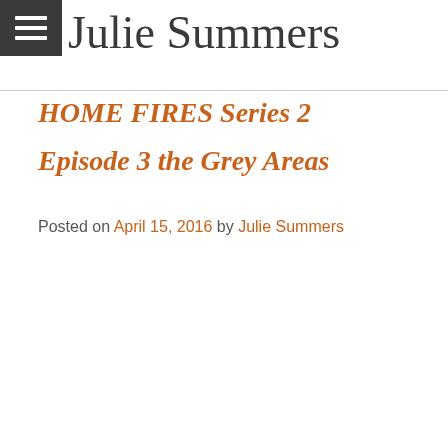Julie Summers
HOME FIRES Series 2
Episode 3 the Grey Areas
Posted on April 15, 2016 by Julie Summers